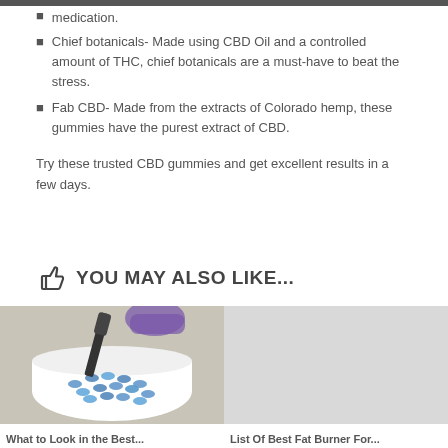medication. These gummies are an excellent alternative to medication.
Chief botanicals- Made using CBD Oil and a controlled amount of THC, chief botanicals are a must-have to beat the stress.
Fab CBD- Made from the extracts of Colorado hemp, these gummies have the purest extract of CBD.
Try these trusted CBD gummies and get excellent results in a few days.
YOU MAY ALSO LIKE...
[Figure (photo): Blue pills/capsules in a white bowl with a spatula, gloved hand handling them]
[Figure (photo): Gray placeholder image for second article]
What to Look in the Best...
List Of Best Fat Burner For...